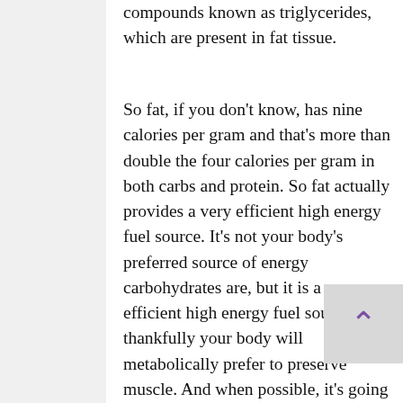compounds known as triglycerides, which are present in fat tissue.
So fat, if you don't know, has nine calories per gram and that's more than double the four calories per gram in both carbs and protein. So fat actually provides a very efficient high energy fuel source. It's not your body's preferred source of energy carbohydrates are, but it is a very efficient high energy fuel source. So thankfully your body will metabolically prefer to preserve muscle. And when possible, it's going to break down both carbohydrate and fat stores for fuel first.